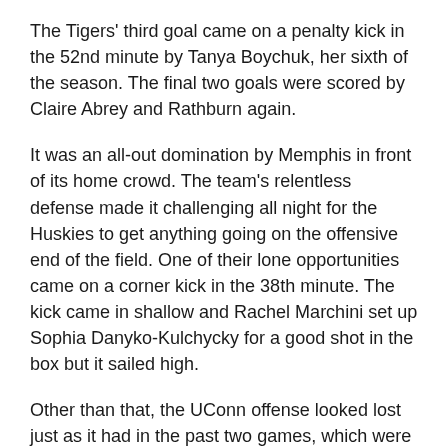The Tigers' third goal came on a penalty kick in the 52nd minute by Tanya Boychuk, her sixth of the season. The final two goals were scored by Claire Abrey and Rathburn again.
It was an all-out domination by Memphis in front of its home crowd. The team's relentless defense made it challenging all night for the Huskies to get anything going on the offensive end of the field. One of their lone opportunities came on a corner kick in the 38th minute. The kick came in shallow and Rachel Marchini set up Sophia Danyko-Kulchycky for a good shot in the box but it sailed high.
Other than that, the UConn offense looked lost just as it had in the past two games, which were 1-0 losses to ECU and Cincinnati. Meanwhile, Memphis's offense continued to mount pressure all game, and it cashed in on multiple occasions.